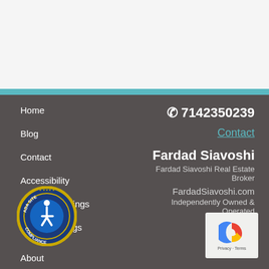Home
Blog
Contact
Accessibility
Featured Listings
Search Listings
☎ 7142350239
Contact
Fardad Siavoshi
Fardad Siavoshi Real Estate Broker
FardadSiavoshi.com
Independently Owned & Operated
[Figure (logo): ADA Site Compliance badge — circular badge with blue and gold border, wheelchair accessibility icon, text reading ADA SITE COMPLIANCE]
[Figure (logo): Google reCAPTCHA widget showing blue/red C logo with Privacy and Terms text]
About